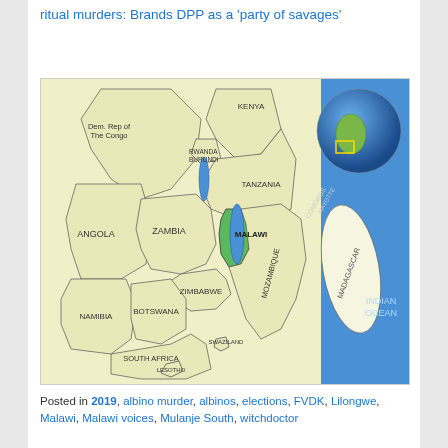ritual murders: Brands DPP as a 'party of savages'
[Figure (map): Map of southern/eastern Africa showing Malawi (highlighted in green) and surrounding countries including Dem. Rep of The Congo, Kenya, Tanzania, Angola, Zambia, Zimbabwe, Namibia, Botswana, South Africa, Mozambique, Rwanda, Burundi, Comoros, Mayotte, Madagascar, Swaziland, Lesotho. Indian Ocean labeled. Globe inset in upper right corner showing Africa's position.]
Posted in 2019, albino murder, albinos, elections, FVDK, Lilongwe, Malawi, Malawi voices, Mulanje South, witchdoctor